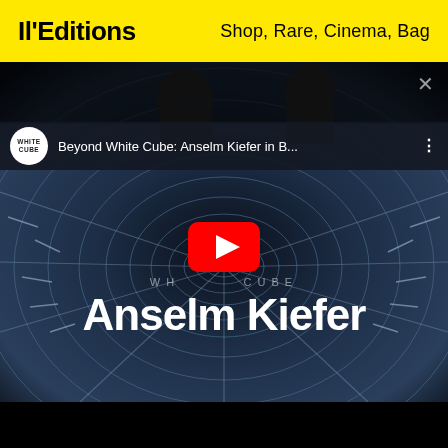Il'Editions   Shop, Rare, Cinema, Bag
[Figure (screenshot): YouTube video thumbnail for 'Beyond White Cube: Anselm Kiefer in B...' showing a tunnel with concentric circular rings receding to a vanishing point, with 'Anselm Kiefer' text overlaid and a YouTube play button in the center. White Cube logo and video title shown in a dark title bar below the top of the video. A close (X) button in the top right.]